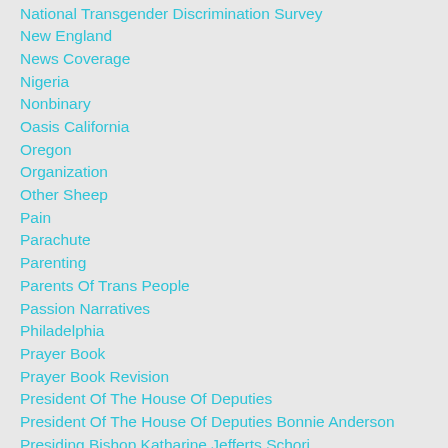National Transgender Discrimination Survey
New England
News Coverage
Nigeria
Nonbinary
Oasis California
Oregon
Organization
Other Sheep
Pain
Parachute
Parenting
Parents Of Trans People
Passion Narratives
Philadelphia
Prayer Book
Prayer Book Revision
President Of The House Of Deputies
President Of The House Of Deputies Bonnie Anderson
Presiding Bishop Katharine Jefferts Schori